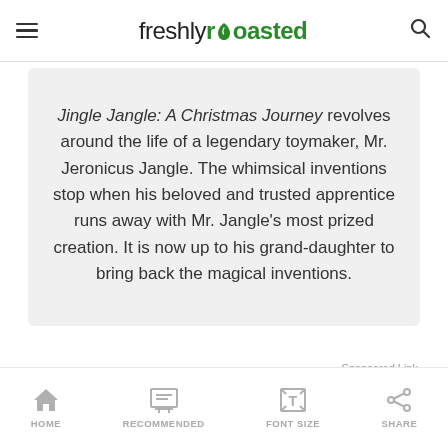freshlyroasted
Jingle Jangle: A Christmas Journey revolves around the life of a legendary toymaker, Mr. Jeronicus Jangle. The whimsical inventions stop when his beloved and trusted apprentice runs away with Mr. Jangle’s most prized creation. It is now up to his grand-daughter to bring back the magical inventions.
Sponsored Link
HOME  RECOMMENDED  FONT SIZE  SHARE